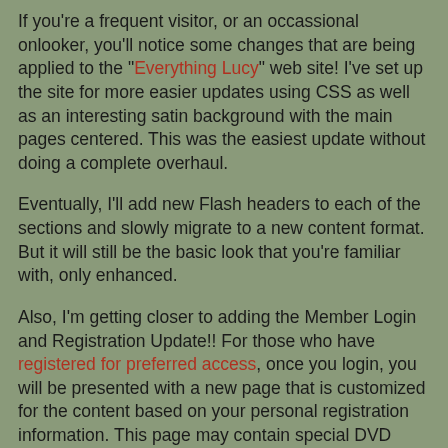If you're a frequent visitor, or an occassional onlooker, you'll notice some changes that are being applied to the "Everything Lucy" web site! I've set up the site for more easier updates using CSS as well as an interesting satin background with the main pages centered. This was the easiest update without doing a complete overhaul.
Eventually, I'll add new Flash headers to each of the sections and slowly migrate to a new content format. But it will still be the basic look that you're familiar with, only enhanced.
Also, I'm getting closer to adding the Member Login and Registration Update!! For those who have registered for preferred access, once you login, you will be presented with a new page that is customized for the content based on your personal registration information. This page may contain special DVD offers that are only available to certain individuals or it may be other links and information or video clips.
For those who aren't familiar with what an "underground" DVD is - it is a DVD that is produced from a video tape of a